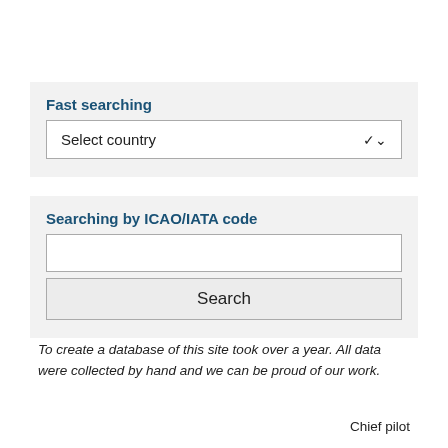Fast searching
Select country
Searching by ICAO/IATA code
Search
To create a database of this site took over a year. All data were collected by hand and we can be proud of our work.
Chief pilot